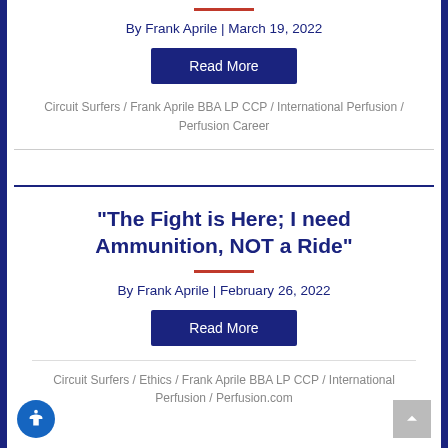By Frank Aprile | March 19, 2022
Read More
Circuit Surfers / Frank Aprile BBA LP CCP / International Perfusion / Perfusion Career
“The Fight is Here; I need Ammunition, NOT a Ride”
By Frank Aprile | February 26, 2022
Read More
Circuit Surfers / Ethics / Frank Aprile BBA LP CCP / International Perfusion / Perfusion.com